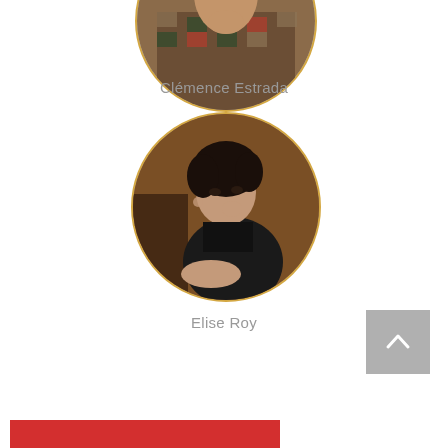[Figure (photo): Partial circular portrait photo at top of page, partially cropped, showing a person in a patterned sweater/jacket, with a gold circular border]
Clémence Estrada
[Figure (photo): Circular portrait photo of Elise Roy, a woman in a black top posed thoughtfully with hand near face, against warm brown background, with gold circular border]
Elise Roy
[Figure (other): Gray scroll-to-top button with upward chevron arrow in bottom right area]
[Figure (other): Red horizontal bar at very bottom of page]